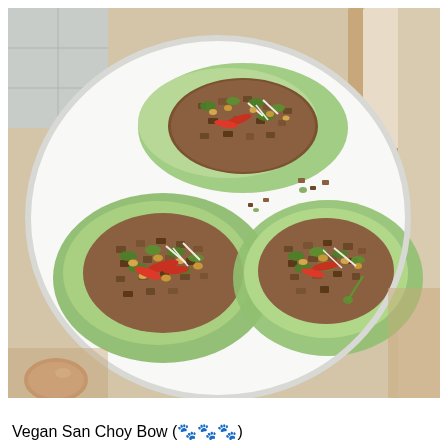[Figure (photo): Overhead photo of three san choy bow lettuce cups filled with minced vegan filling, chopped peanuts, fresh coriander, bean sprouts and sliced red chilli, arranged on a large white plate on a wooden surface.]
Vegan San Choy Bow (🌿🌿🌿)